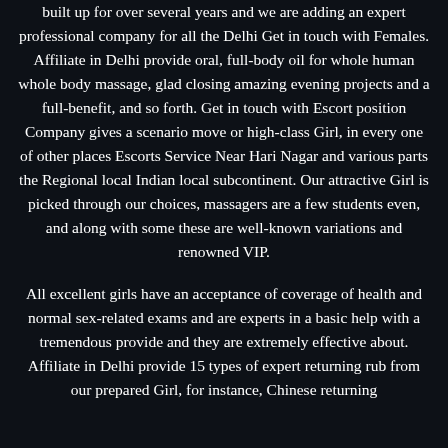built up for over several years and we are adding an expert professional company for all the Delhi Get in touch with Females. Affiliate in Delhi provide oral, full-body oil for whole human whole body massage, glad closing amazing evening projects and a full-benefit, and so forth. Get in touch with Escort position Company gives a scenario move or high-class Girl, in every one of other places Escorts Service Near Hari Nagar and various parts the Regional local Indian local subcontinent. Our attractive Girl is picked through our choices, massagers are a few students even, and along with some these are well-known variations and renowned VIP.
All excellent girls have an acceptance of coverage of health and normal sex-related exams and are experts in a basic help with a tremendous provide and they are extremely effective about. Affiliate in Delhi provide 15 types of expert returning rub from our prepared Girl, for instance, Chinese returning